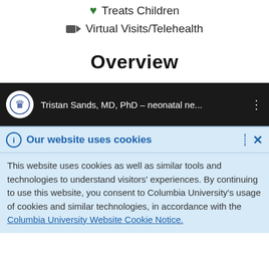Treats Children
Virtual Visits/Telehealth
Overview
[Figure (screenshot): Video thumbnail showing Columbia University logo and title 'Tristan Sands, MD, PhD – neonatal ne...' with a partial face visible on dark background]
Our website uses cookies
This website uses cookies as well as similar tools and technologies to understand visitors' experiences. By continuing to use this website, you consent to Columbia University's usage of cookies and similar technologies, in accordance with the Columbia University Website Cookie Notice.